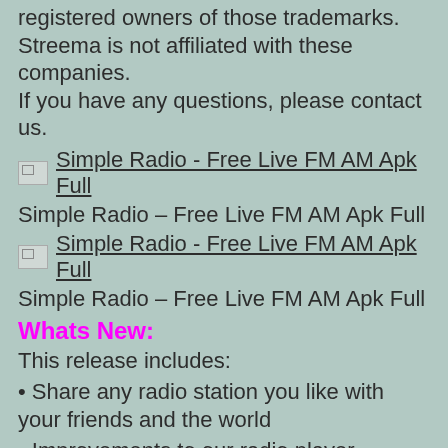registered owners of those trademarks. Streema is not affiliated with these companies. If you have any questions, please contact us.
[Figure (illustration): Broken image icon placeholder]
Simple Radio - Free Live FM AM Apk Full
Simple Radio – Free Live FM AM Apk Full
[Figure (illustration): Broken image icon placeholder]
Simple Radio - Free Live FM AM Apk Full
Simple Radio – Free Live FM AM Apk Full
Whats New:
This release includes:
• Share any radio station you like with your friends and the world
• Improvements to our radio player
• More recommended stations for everyone!
Google Play